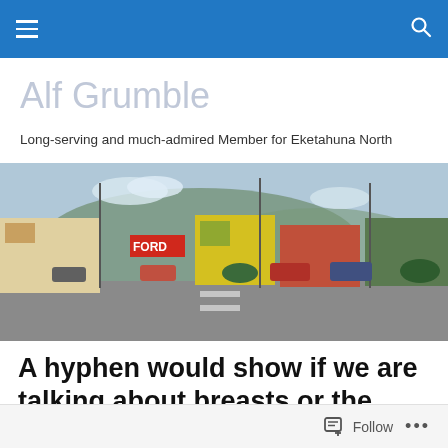Alf Grumble — site navigation header bar
Alf Grumble
Long-serving and much-admired Member for Eketahuna North
[Figure (photo): Street-level view of a small New Zealand town main street with shops, parked cars, and hills in the background. A FORD sign is visible on the left.]
A hyphen would show if we are talking about breasts or the machines that screen them
Follow  •••